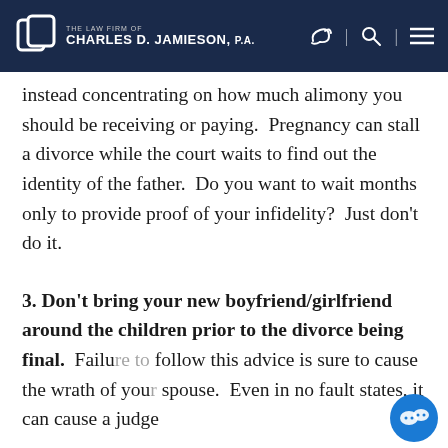THE LAW FIRM OF CHARLES D. JAMIESON, P.A.
instead concentrating on how much alimony you should be receiving or paying.  Pregnancy can stall a divorce while the court waits to find out the identity of the father.  Do you want to wait months only to provide proof of your infidelity?  Just don't do it.
3. Don't bring your new boyfriend/girlfriend around the children prior to the divorce being final.  Failure to follow this advice is sure to cause the wrath of your spouse.  Even in no fault states, it can cause a judge